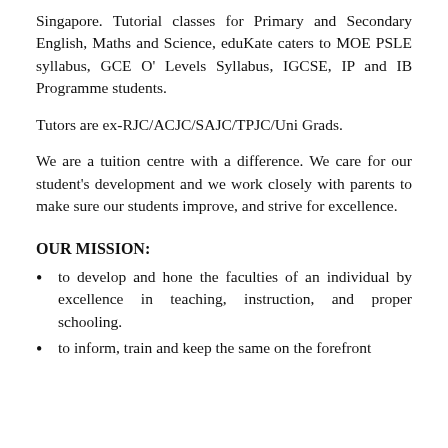Singapore. Tutorial classes for Primary and Secondary English, Maths and Science, eduKate caters to MOE PSLE syllabus, GCE O' Levels Syllabus, IGCSE, IP and IB Programme students.
Tutors are ex-RJC/ACJC/SAJC/TPJC/Uni Grads.
We are a tuition centre with a difference. We care for our student's development and we work closely with parents to make sure our students improve, and strive for excellence.
OUR MISSION:
to develop and hone the faculties of an individual by excellence in teaching, instruction, and proper schooling.
to inform, train and keep the same on the forefront